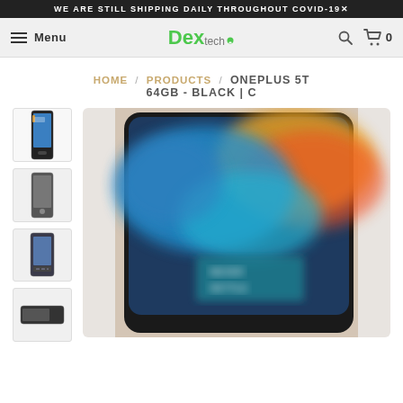WE ARE STILL SHIPPING DAILY THROUGHOUT COVID-19✕
[Figure (screenshot): DexTech website navigation bar with hamburger menu, Menu text, DexTech logo in green, search icon and cart icon with 0 items]
HOME / PRODUCTS / ONEPLUS 5T 64GB - BLACK | C
[Figure (photo): Product image gallery showing OnePlus 5T phone. Left column shows 4 thumbnail images of the phone from different angles. Main large image shows front face of the OnePlus 5T with colorful blurred wallpaper background and Never Settle branding.]